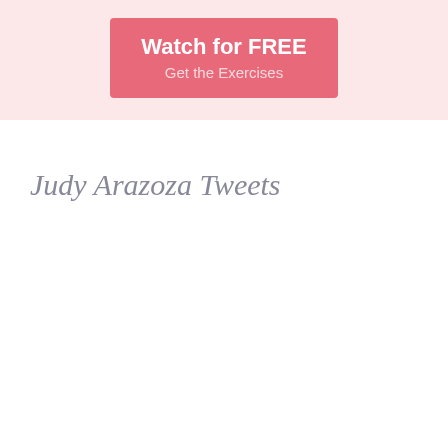[Figure (other): Pink banner with a salmon/rose colored button containing 'Watch for FREE' in bold white text and 'Get the Exercises' in lighter white text below]
Judy Arazoza Tweets